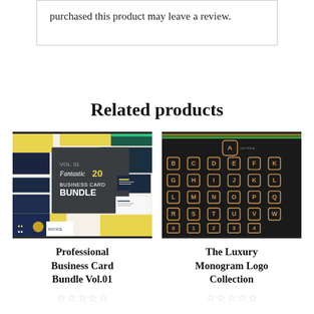purchased this product may leave a review.
Related products
[Figure (illustration): Business card bundle product image showing multiple colorful business card designs with text VOL. 01 Fantastic 20 BUSINESS CARD BUNDLE on a dark gray background]
[Figure (illustration): The Luxury Monogram Logo Collection showing alphabet letters A-Z arranged in a grid on dark background with decorative badge frames]
Professional Business Card Bundle Vol.01
The Luxury Monogram Logo Collection